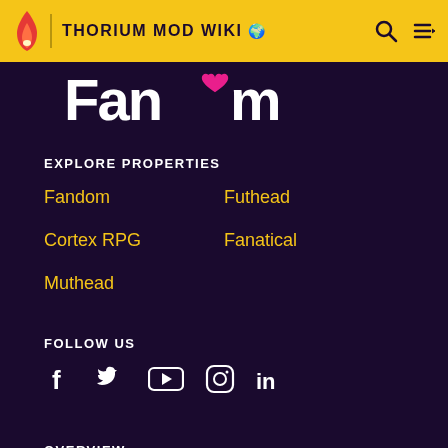THORIUM MOD WIKI
[Figure (logo): Fandom wordmark logo in white with pink heart replacing 'o']
EXPLORE PROPERTIES
Fandom
Futhead
Cortex RPG
Fanatical
Muthead
FOLLOW US
[Figure (infographic): Social media icons: Facebook, Twitter, YouTube, Instagram, LinkedIn]
OVERVIEW
What is Fandom?
Terms of Use